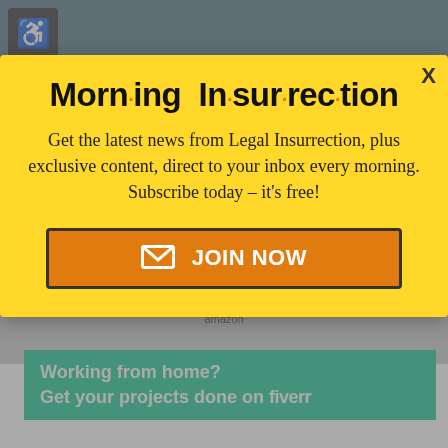The latest Florida school shooting is not just tragic, but as one reader pointed out, atrocious. Atrocious because every law enforcement agency involved
[Figure (screenshot): Modal popup advertisement for Morning Insurrection newsletter on a news website background]
Morn·ing In·sur·rec·tion
Get the latest news from Legal Insurrection, plus exclusive content, direct to your inbox every morning. Subscribe today – it's free!
JOIN NOW
Working from home? Get your projects done on fiverr